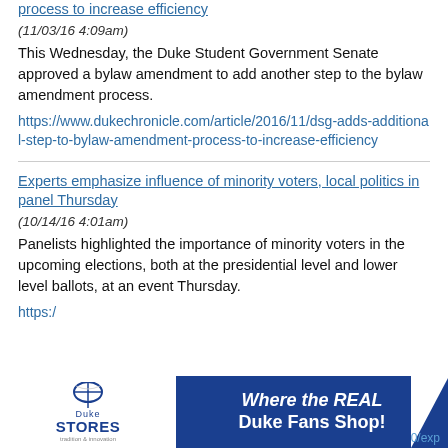process to increase efficiency
(11/03/16 4:09am)
This Wednesday, the Duke Student Government Senate approved a bylaw amendment to add another step to the bylaw amendment process.
https://www.dukechronicle.com/article/2016/11/dsg-adds-additional-step-to-bylaw-amendment-process-to-increase-efficiency
Experts emphasize influence of minority voters, local politics in panel Thursday
(10/14/16 4:01am)
Panelists highlighted the importance of minority voters in the upcoming elections, both at the presidential level and lower level ballots, at an event Thursday.
https:/...0/exp
[Figure (infographic): Duke Stores advertisement banner: white logo area with 'Duke STORES' text and a grey triangle divider, blue background with text 'Where the REAL Duke Fans Shop!']